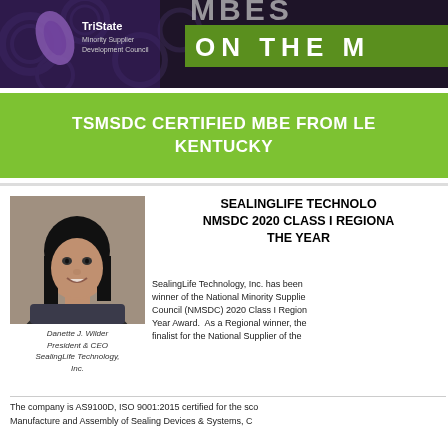[Figure (logo): TriState Minority Supplier Development Council logo with header banner showing gears and 'MBES ON THE M' text on dark background]
TSMSDC CERTIFIED MBE FROM LE... KENTUCKY
[Figure (photo): Headshot photo of Danette J. Wilder, President & CEO of SealingLife Technology, Inc.]
Danette J. Wilder President & CEO SealingLife Technology, Inc.
SEALINGLIFE TECHNOLO... NMSDC 2020 CLASS I REGIONA... THE YEAR
SealingLife Technology, Inc. has been winner of the National Minority Supplie... Council (NMSDC) 2020 Class I Region... Year Award. As a Regional winner, the... finalist for the National Supplier of the...
The company is AS9100D, ISO 9001:2015 certified for the sco... Manufacture and Assembly of Sealing Devices & Systems, C...